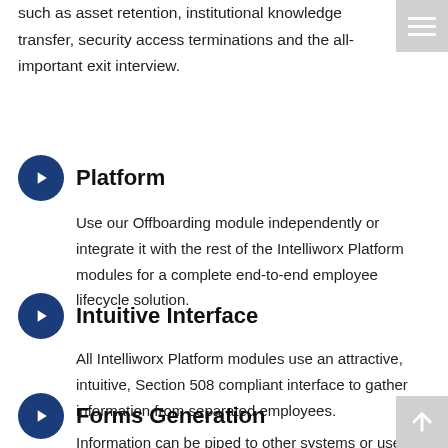such as asset retention, institutional knowledge transfer, security access terminations and the all-important exit interview.
Platform
Use our Offboarding module independently or integrate it with the rest of the Intelliworx Platform modules for a complete end-to-end employee lifecycle solution.
Intuitive Interface
All Intelliworx Platform modules use an attractive, intuitive, Section 508 compliant interface to gather information from separated employees.
Forms Generation
Information can be piped to other systems or used to